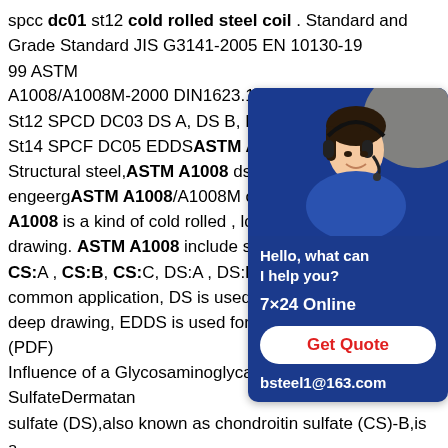spcc dc01 st12 cold rolled steel coil . Standard and Grade Standard JIS G3141-2005 EN 10130-1999 ASTM A1008/A1008M-2000 DIN1623.1-1983 G St12 SPCD DC03 DS A, DS B, DS C St1 St14 SPCF DC05 EDDS ASTM A1008/A Structural steel, ASTM A1008 ds used ste engeerg ASTM A1008/A1008M cold rolle A1008 is a kind of cold rolled , low carbo drawing. ASTM A1008 include seven lev CS:A , CS:B, CS:C, DS:A , DS:B, DDS, B common application, DS is used for draw deep drawing, EDDS is used for super-deep drawing.(PDF) Influence of a Glycosaminoglycan Dermatan SulfateDermatan sulfate (DS),also known as chondroitin sulfate (CS)-B,is a member of the linear polysaccharides called glycosaminoglycans (GAGs).The expression of CS/DS and DS proteoglycans is
[Figure (illustration): Customer service chat widget with a woman wearing a headset, blue background, 'Hello, what can I help you?', '7x24 Online', 'Get Quote' button, and email bsteel1@163.com]